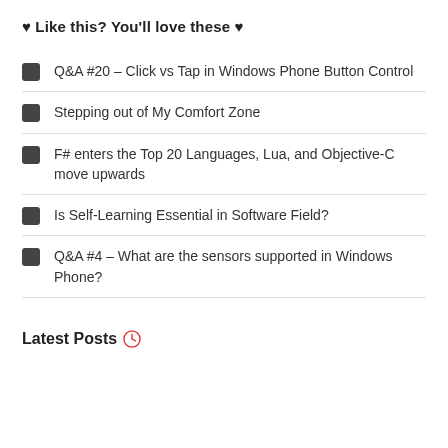♥ Like this? You'll love these ♥
Q&A #20 – Click vs Tap in Windows Phone Button Control
Stepping out of My Comfort Zone
F# enters the Top 20 Languages, Lua, and Objective-C move upwards
Is Self-Learning Essential in Software Field?
Q&A #4 – What are the sensors supported in Windows Phone?
Latest Posts